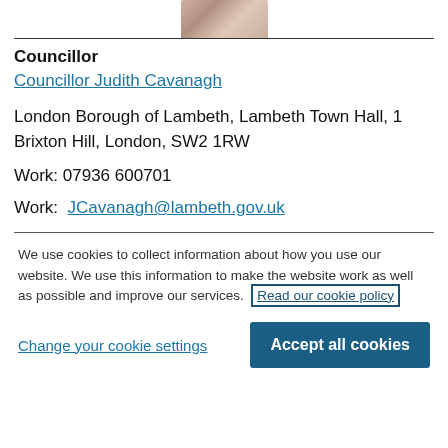[Figure (photo): Partial photo of Councillor Judith Cavanagh, cropped at top]
Councillor
Councillor Judith Cavanagh
London Borough of Lambeth, Lambeth Town Hall, 1 Brixton Hill, London, SW2 1RW
Work: 07936 600701
Work: JCavanagh@lambeth.gov.uk
We use cookies to collect information about how you use our website. We use this information to make the website work as well as possible and improve our services. Read our cookie policy
Change your cookie settings
Accept all cookies